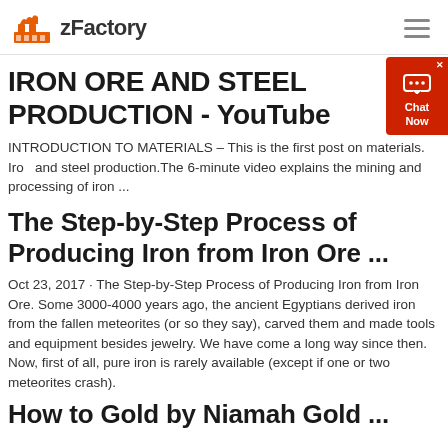zFactory
IRON ORE AND STEEL PRODUCTION - YouTube
INTRODUCTION TO MATERIALS – This is the first post on materials. Iron and steel production.The 6-minute video explains the mining and processing of iron ...
The Step-by-Step Process of Producing Iron from Iron Ore ...
Oct 23, 2017 · The Step-by-Step Process of Producing Iron from Iron Ore. Some 3000-4000 years ago, the ancient Egyptians derived iron from the fallen meteorites (or so they say), carved them and made tools and equipment besides jewelry. We have come a long way since then. Now, first of all, pure iron is rarely available (except if one or two meteorites crash).
How to Gold by Niamah Gold ...